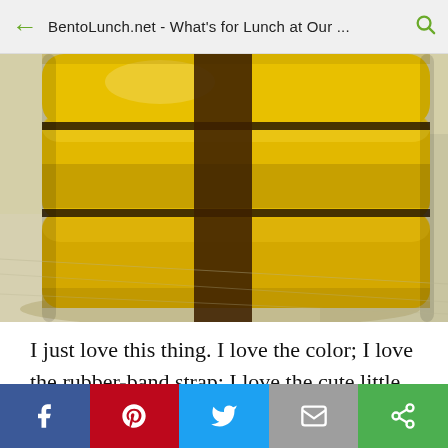BentoLunch.net - What's for Lunch at Our ...
[Figure (photo): Close-up photo of a yellow two-tier bento lunch box with a dark brown rubber-band strap crossing over it, sitting on a white textured cloth surface.]
I just love this thing. I love the color; I love the rubber-band strap; I love the cute little bag. It's small, but I don't need a huge lunch, and I do have a few non-refrigerated snacks in my desk